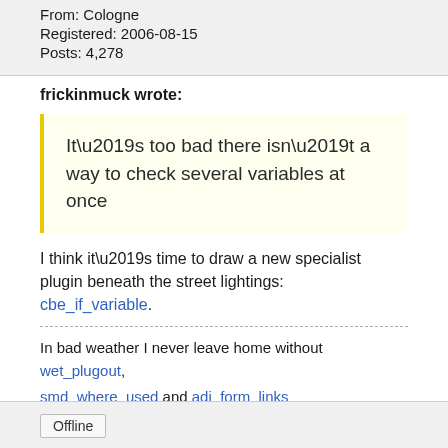From: Cologne
Registered: 2006-08-15
Posts: 4,278
frickinmuck wrote:
It’s too bad there isn’t a way to check several variables at once
I think it’s time to draw a new specialist plugin beneath the street lightings: cbe_if_variable.
In bad weather I never leave home without wet_plugout, smd_where_used and adi_form_links
Offline